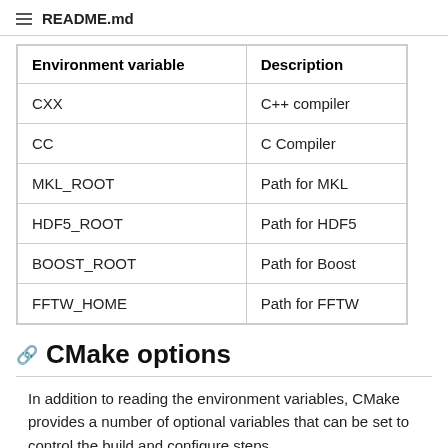README.md
| Environment variable | Description |
| --- | --- |
| CXX | C++ compiler |
| CC | C Compiler |
| MKL_ROOT | Path for MKL |
| HDF5_ROOT | Path for HDF5 |
| BOOST_ROOT | Path for Boost |
| FFTW_HOME | Path for FFTW |
CMake options
In addition to reading the environment variables, CMake provides a number of optional variables that can be set to control the build and configure steps.